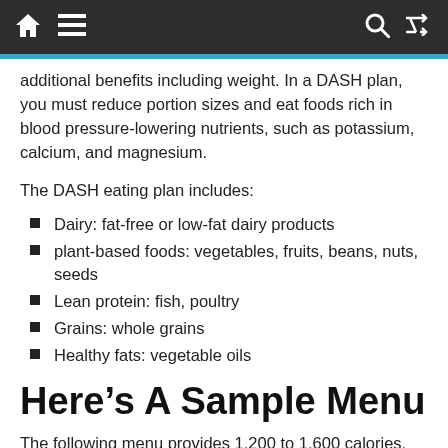Navigation header bar with home, menu, search, and shuffle icons
additional benefits including weight. In a DASH plan, you must reduce portion sizes and eat foods rich in blood pressure-lowering nutrients, such as potassium, calcium, and magnesium.
The DASH eating plan includes:
Dairy: fat-free or low-fat dairy products
plant-based foods: vegetables, fruits, beans, nuts, seeds
Lean protein: fish, poultry
Grains: whole grains
Healthy fats: vegetable oils
Here’s A Sample Menu
The following menu provides 1,200 to 1,600 calories, per day.